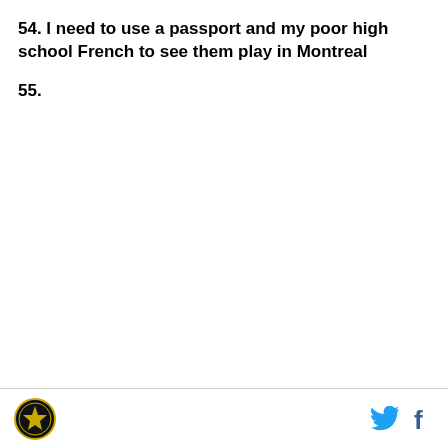54. I need to use a passport and my poor high school French to see them play in Montreal
55.
Logo | Twitter | Facebook